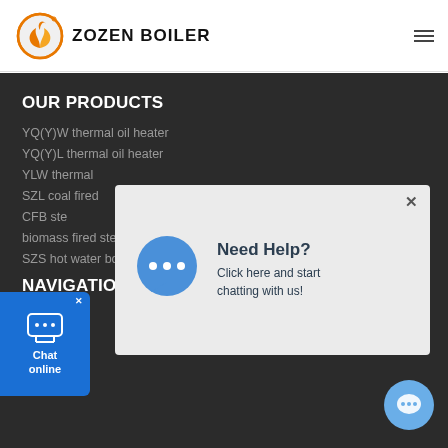[Figure (logo): ZOZEN BOILER logo with orange flame/swirl icon and bold black text]
OUR PRODUCTS
YQ(Y)W thermal oil heater
YQ(Y)L thermal oil heater
YLW thermal
SZL coal fired
CFB ste
biomass fired steam boiler
SZS hot water boiler
NAVIGATION
[Figure (screenshot): Chat popup widget with speech bubble icon, text: Need Help? Click here and start chatting with us!]
[Figure (screenshot): Chat online widget button on left side]
[Figure (screenshot): Floating chat bubble button on bottom right]